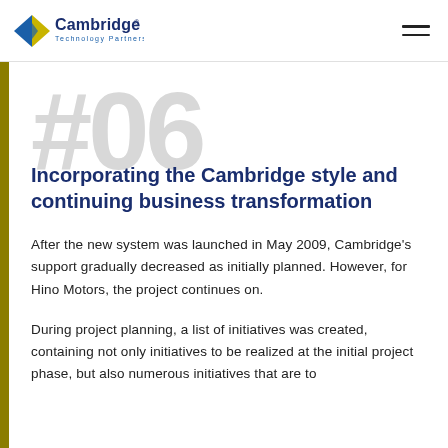Cambridge Technology Partners
Incorporating the Cambridge style and continuing business transformation
After the new system was launched in May 2009, Cambridge's support gradually decreased as initially planned. However, for Hino Motors, the project continues on.
During project planning, a list of initiatives was created, containing not only initiatives to be realized at the initial project phase, but also numerous initiatives that are to